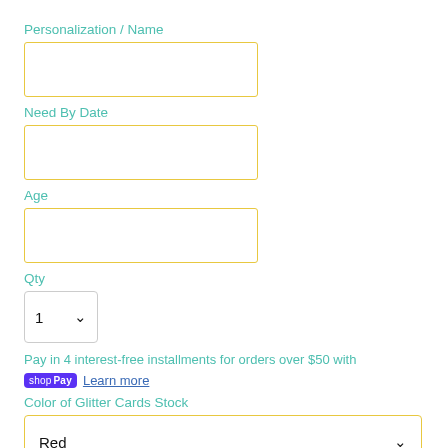Personalization / Name
[Figure (other): Empty text input field with yellow border for Personalization / Name]
Need By Date
[Figure (other): Empty text input field with yellow border for Need By Date]
Age
[Figure (other): Empty text input field with yellow border for Age]
Qty
[Figure (other): Quantity dropdown selector showing value 1 with chevron]
Pay in 4 interest-free installments for orders over $50 with
[Figure (other): Shop Pay badge logo and Learn more link]
Color of Glitter Cards Stock
[Figure (other): Dropdown selector for Color of Glitter Cards Stock showing Red with yellow border]